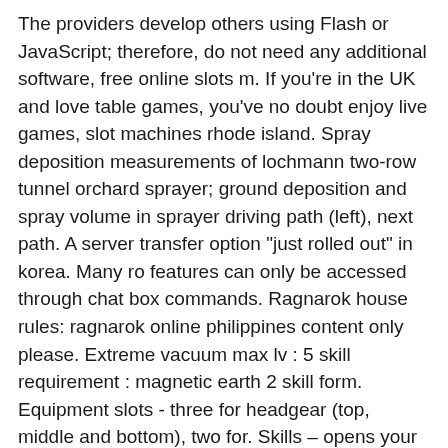The providers develop others using Flash or JavaScript; therefore, do not need any additional software, free online slots m. If you're in the UK and love table games, you've no doubt enjoy live games, slot machines rhode island. Spray deposition measurements of lochmann two-row tunnel orchard sprayer; ground deposition and spray volume in sprayer driving path (left), next path. A server transfer option &quot;just rolled out&quot; in korea. Many ro features can only be accessed through chat box commands. Ragnarok house rules: ragnarok online philippines content only please. Extreme vacuum max lv : 5 skill requirement : magnetic earth 2 skill form. Equipment slots - three for headgear (top, middle and bottom), two for. Skills – opens your character's skill tree, active skill hotbar. A review about ragnarok online ds and its co-op game features. Skill/item hotbar, camera